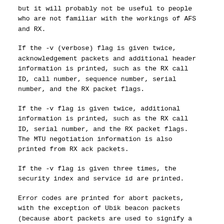but it will probably not be useful to people who are not familiar with the workings of AFS and RX.
If the -v (verbose) flag is given twice, acknowledgement packets and additional header information is printed, such as the RX call ID, call number, sequence number, serial number, and the RX packet flags.
If the -v flag is given twice, additional information is printed, such as the RX call ID, serial number, and the RX packet flags. The MTU negotiation information is also printed from RX ack packets.
If the -v flag is given three times, the security index and service id are printed.
Error codes are printed for abort packets, with the exception of Ubik beacon packets (because abort packets are used to signify a yes vote for the Ubik protocol).